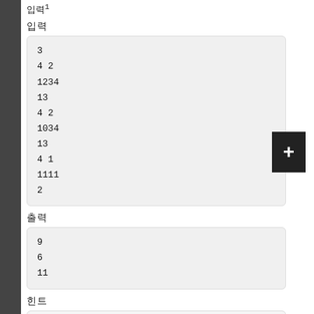입력¹
입력
3
4 2
1234
13
4 2
1034
13
4 1
1111
2
출력
9
6
11
힌트
For the last test, there are 6 subsequences "11", 4 subsequences "1111" and 1 subsequence